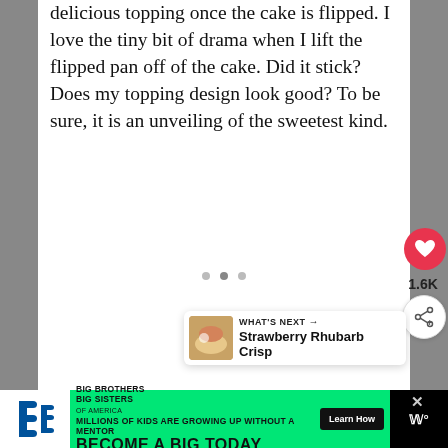delicious topping once the cake is flipped. I love the tiny bit of drama when I lift the flipped pan off of the cake. Did it stick? Does my topping design look good? To be sure, it is an unveiling of the sweetest kind.
[Figure (screenshot): Social media UI elements: heart/like button showing 1.6K, share button, three dot carousel indicators, and a 'What's Next' card showing Strawberry Rhubarb Crisp]
[Figure (screenshot): Advertisement banner: Big Brothers Big Sisters of America - 'Millions of kids are growing up without a mentor. Become a Big Today' with Learn How button on green background]